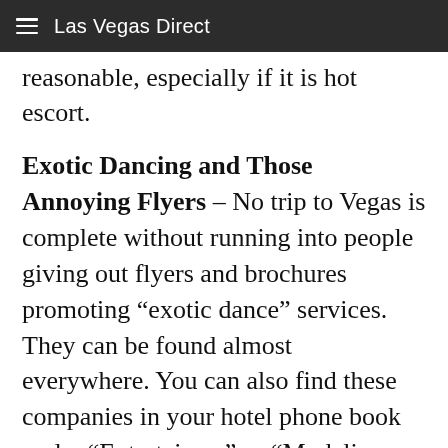Las Vegas Direct
reasonable, especially if it is hot escort.
Exotic Dancing and Those Annoying Flyers – No trip to Vegas is complete without running into people giving out flyers and brochures promoting “exotic dance” services. They can be found almost everywhere. You can also find these companies in your hotel phone book under “Entertainers” or “Modeling Services.” The girls who work for these outfits are the same ones that cruise the casinos. The only difference is that they are waiting for calls. The flyers may just list “modeling” as the service. If you want to negotate for say actual sex, you will